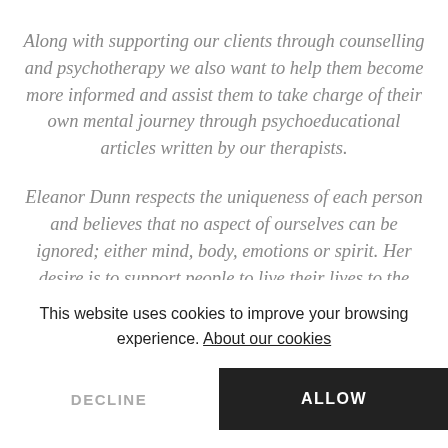Along with supporting our clients through counselling and psychotherapy we also want to help them become more informed and assist them to take charge of their own mental journey through psychoeducational articles written by our therapists.
Eleanor Dunn respects the uniqueness of each person and believes that no aspect of ourselves can be ignored; either mind, body, emotions or spirit. Her desire is to support people to live their lives to the full.
This website uses cookies to improve your browsing experience. About our cookies
DECLINE
ALLOW